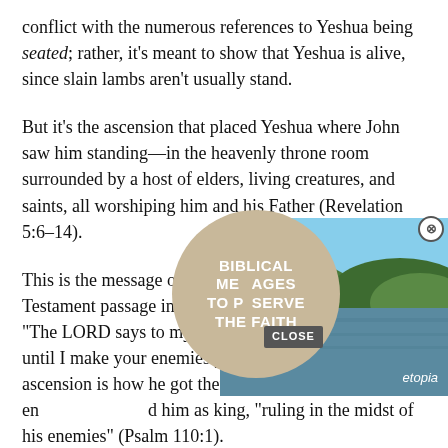conflict with the numerous references to Yeshua being seated; rather, it's meant to show that Yeshua is alive, since slain lambs aren't usually stand.
But it's the ascension that placed Yeshua where John saw him standing—in the heavenly throne room surrounded by a host of elders, living creatures, and saints, all worshiping him and his Father (Revelation 5:6–14).
[Figure (other): Video advertisement overlay showing a lake and forest landscape with a circular badge reading 'BIBLICAL MESSAGES TO PRESERVE THE FAITH' with a play icon, and 'etopia' branding. Has an X close button and a CLOSE button.]
This is the message of the most cited Old Testament passage in the New Testament—Psalm 110:1: "The LORD says to my Lord, 'Sit at my right hand, until I make your enemies your footstool.'" The ascension is how he got there (Acts 2:33–34). It's what enthroned him as king, "ruling in the midst of his enemies" (Psalm 110:1).